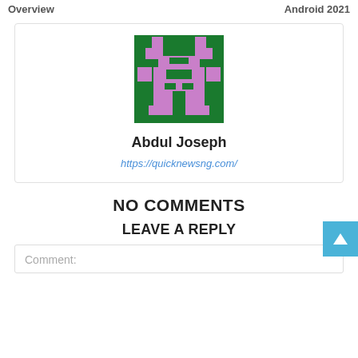Overview    Android 2021
[Figure (illustration): Pixel art avatar image with green background and pink/purple cross-like character pattern]
Abdul Joseph
https://quicknewsng.com/
NO COMMENTS
LEAVE A REPLY
Comment: